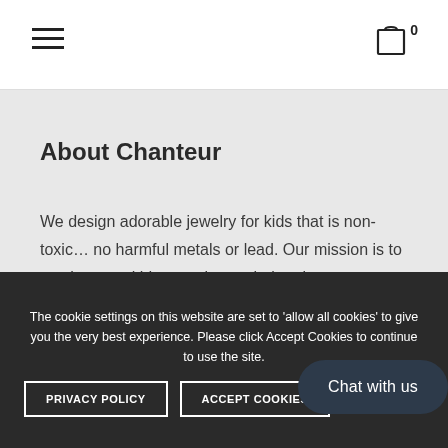Menu | Cart 0
About Chanteur
We design adorable jewelry for kids that is non-toxic... no harmful metals or lead. Our mission is to teach young kids to embrace their unique differences and authentic selves (which builds confidence!) and to be kind every day (especially
The cookie settings on this website are set to 'allow all cookies' to give you the very best experience. Please click Accept Cookies to continue to use the site.
PRIVACY POLICY
ACCEPT COOKIES
Chat with us